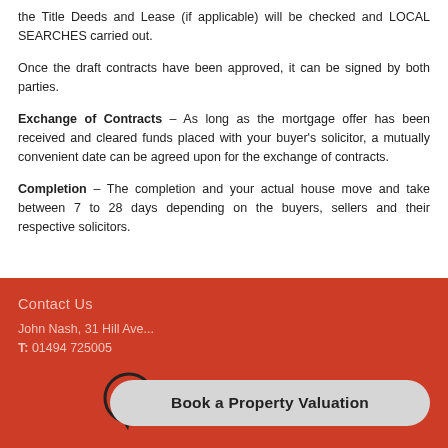the Title Deeds and Lease (if applicable) will be checked and LOCAL SEARCHES carried out.
Once the draft contracts have been approved, it can be signed by both parties.
Exchange of Contracts – As long as the mortgage offer has been received and cleared funds placed with your buyer's solicitor, a mutually convenient date can be agreed upon for the exchange of contracts.
Completion – The completion and your actual house move and take between 7 to 28 days depending on the buyers, sellers and their respective solicitors.
Contact Us
John Nash, 31 Hill Ave...
T: 01494 725005
[Figure (other): Book a Property Valuation button with pound sign icon in a speech bubble]